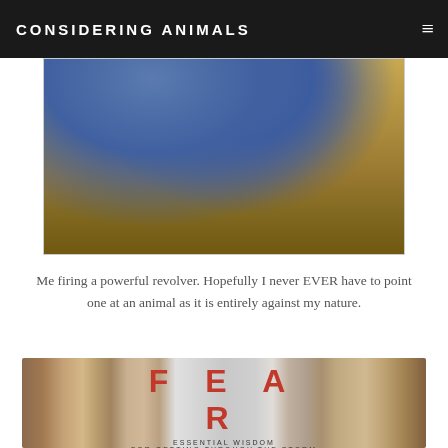CONSIDERING ANIMALS
[Figure (photo): Person's legs in jeans standing on sandy/gravelly ground, apparently firing a revolver]
Me firing a powerful revolver. Hopefully I never EVER have to point one at an animal as it is entirely against my nature.
[Figure (photo): Photo of a book cover titled 'FEAR: Essential Wisdom for Getting Through the Storm', placed on a striped fabric/blanket]